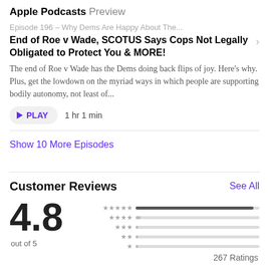Apple Podcasts Preview
Episode 196 – Why Dems Are Happy About The...
End of Roe v Wade, SCOTUS Says Cops Not Legally Obligated to Protect You & MORE!
The end of Roe v Wade has the Dems doing back flips of joy. Here's why. Plus, get the lowdown on the myriad ways in which people are supporting bodily autonomy, not least of...
▶ PLAY   1 hr 1 min
Show 10 More Episodes
Customer Reviews
See All
4.8
out of 5
[Figure (infographic): Star rating bars: 5-star bar nearly full, 4-star bar very short, 3-star bar very short, 2-star bar very short, 1-star bar very short]
267 Ratings
[Figure (infographic): Four orange stars partially visible at bottom of page]